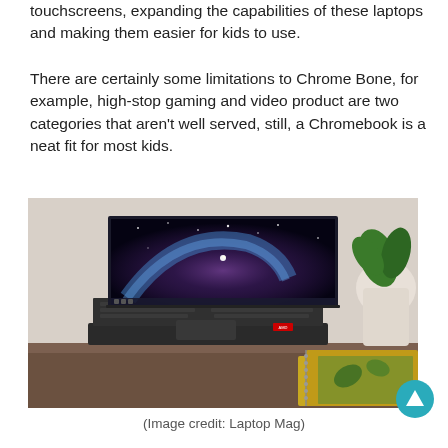touchscreens, expanding the capabilities of these laptops and making them easier for kids to use.
There are certainly some limitations to Chrome Bone, for example, high-stop gaming and video product are two categories that aren't well served, still, a Chromebook is a neat fit for most kids.
[Figure (photo): HP Chromebook laptop open on a wooden desk, showing a galaxy/space wallpaper on screen, with a white plant pot and tropical-print notebook visible in the background.]
(Image credit: Laptop Mag)